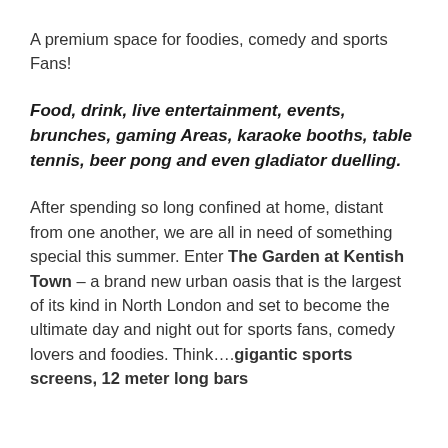A premium space for foodies, comedy and sports Fans!
Food, drink, live entertainment, events, brunches, gaming Areas, karaoke booths, table tennis, beer pong and even gladiator duelling.
After spending so long confined at home, distant from one another, we are all in need of something special this summer. Enter The Garden at Kentish Town – a brand new urban oasis that is the largest of its kind in North London and set to become the ultimate day and night out for sports fans, comedy lovers and foodies. Think....gigantic sports screens, 12 meter long bars...